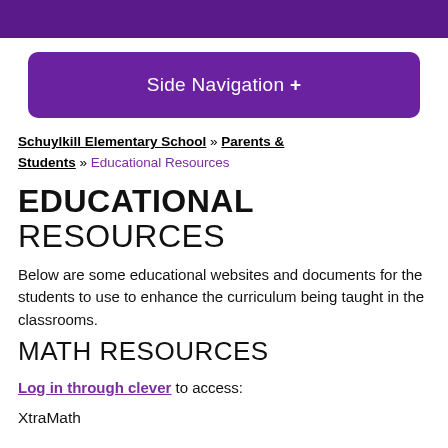[Figure (other): Side Navigation button with purple rounded rectangle background and white text with a plus sign]
Schuylkill Elementary School » Parents & Students » Educational Resources
EDUCATIONAL RESOURCES
Below are some educational websites and documents for the students to use to enhance the curriculum being taught in the classrooms.
MATH RESOURCES
Log in through clever to access:
XtraMath